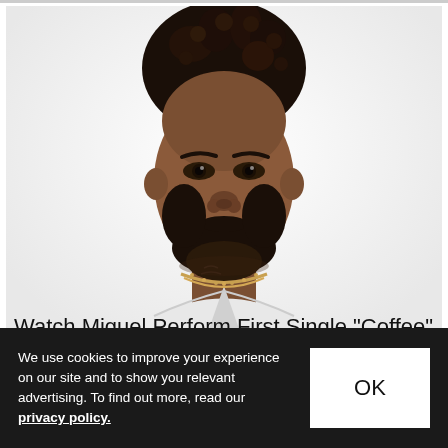[Figure (photo): Portrait photo of Miguel, a male artist with curly dark hair, beard, wearing a white jacket and gold chain necklace, looking directly at camera against a white background.]
Watch Miguel Perform First Single "Coffee" on
We use cookies to improve your experience on our site and to show you relevant advertising. To find out more, read our privacy policy.